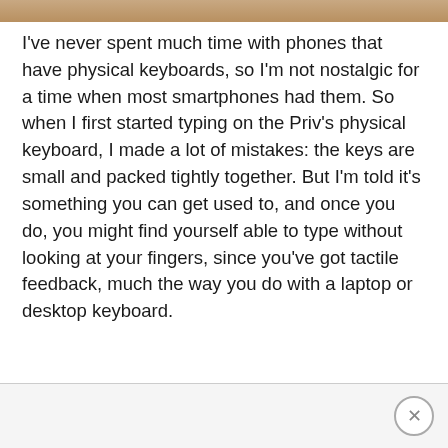[Figure (photo): Top strip showing partial photo, appears to be a person or object with warm brown tones]
I've never spent much time with phones that have physical keyboards, so I'm not nostalgic for a time when most smartphones had them. So when I first started typing on the Priv's physical keyboard, I made a lot of mistakes: the keys are small and packed tightly together. But I'm told it's something you can get used to, and once you do, you might find yourself able to type without looking at your fingers, since you've got tactile feedback, much the way you do with a laptop or desktop keyboard.
[Figure (other): Advertisement bar at bottom with close (X) button]